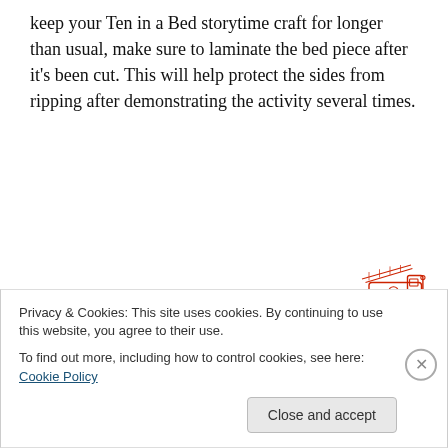keep your Ten in a Bed storytime craft for longer than usual, make sure to laminate the bed piece after it's been cut. This will help protect the sides from ripping after demonstrating the activity several times.
[Figure (illustration): A red wavy decorative line with a red illustrated fire truck at the right end]
Thanks for hanging out with us today! We'd love to get some of your input on our projects. Send ideas or photos about your own projects to us for a chance to be featured
Privacy & Cookies: This site uses cookies. By continuing to use this website, you agree to their use.
To find out more, including how to control cookies, see here: Cookie Policy